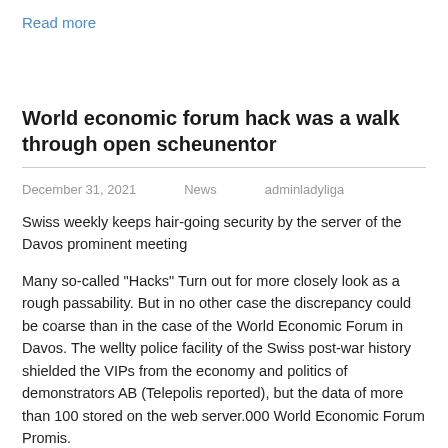Read more
World economic forum hack was a walk through open scheunentor
December 31, 2021   News   adminladyliga
Swiss weekly keeps hair-going security by the server of the Davos prominent meeting
Many so-called "Hacks" Turn out for more closely look as a rough passability. But in no other case the discrepancy could be coarse than in the case of the World Economic Forum in Davos. The wellty police facility of the Swiss post-war history shielded the VIPs from the economy and politics of demonstrators AB (Telepolis reported), but the data of more than 100 stored on the web server.000 World Economic Forum Promis.
This found a Swiss newspaper, which is now based on coarse releases independent and self-government-operated weekly, now based on court files. Under the headline